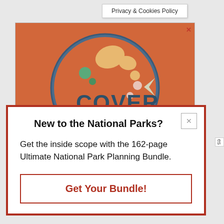Privacy & Cookies Policy
[Figure (illustration): Orange/terracotta advertisement banner with a circular logo showing colorful abstract shapes and the text 'COVER' in dark teal letters, on an orange background. A small X close button is in the top-right corner.]
New to the National Parks?
Get the inside scope with the 162-page Ultimate National Park Planning Bundle.
Get Your Bundle!